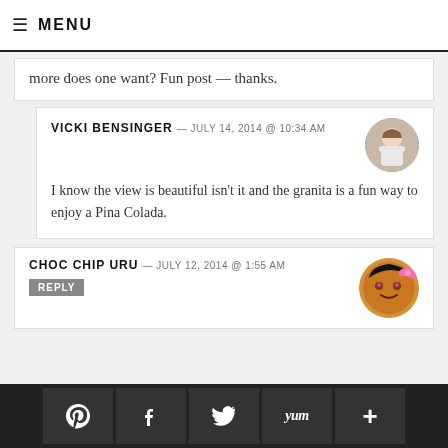≡ MENU
more does one want? Fun post — thanks.
VICKI BENSINGER — JULY 14, 2014 @ 10:34 AM
I know the view is beautiful isn't it and the granita is a fun way to enjoy a Pina Colada.
CHOC CHIP URU — JULY 12, 2014 @ 1:55 AM
REPLY
[Figure (screenshot): Social share bar at the bottom with Pinterest, Facebook, Twitter, Yum, and Plus buttons]